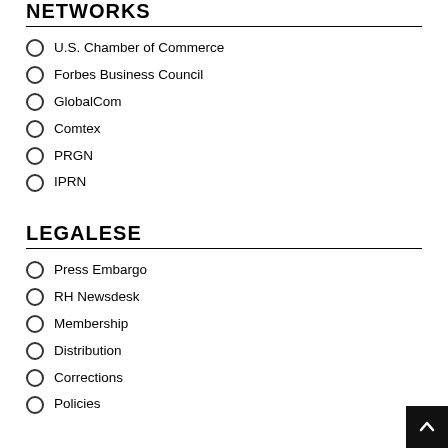NETWORKS
U.S. Chamber of Commerce
Forbes Business Council
GlobalCom
Comtex
PRGN
IPRN
LEGALESE
Press Embargo
RH Newsdesk
Membership
Distribution
Corrections
Policies